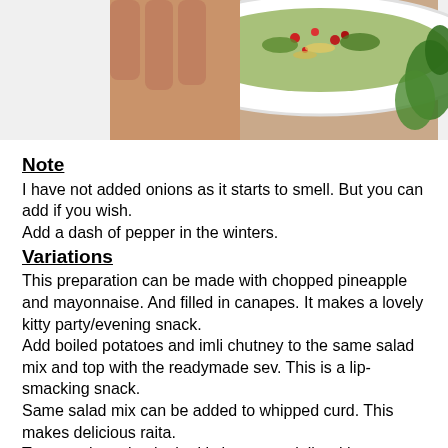[Figure (photo): A hand holding a white plate with a colorful salad topped with sprouts and red berries/pomegranate seeds, with green herbs visible on the side.]
Note
I have not added onions as it starts to smell. But you can add if you wish.
Add a dash of pepper in the winters.
Variations
This preparation can be made with chopped pineapple and mayonnaise. And filled in canapes. It makes a lovely kitty party/evening snack.
Add boiled potatoes and imli chutney to the same salad mix and top with the readymade sev. This is a lip-smacking snack.
Same salad mix can be added to whipped curd. This makes delicious raita.
Try experimenting in the kitchen especially with sprouts. Sprouted seeds like moong and making are excellent sources of fiber and antioxidants. The fact is, a sprouted